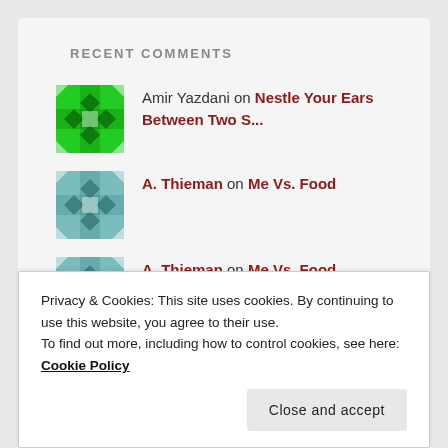RECENT COMMENTS
Amir Yazdani on Nestle Your Ears Between Two S...
A. Thieman on Me Vs. Food
A. Thieman on Me Vs. Food
Jared on Inbloguration
Privacy & Cookies: This site uses cookies. By continuing to use this website, you agree to their use.
To find out more, including how to control cookies, see here: Cookie Policy
Close and accept